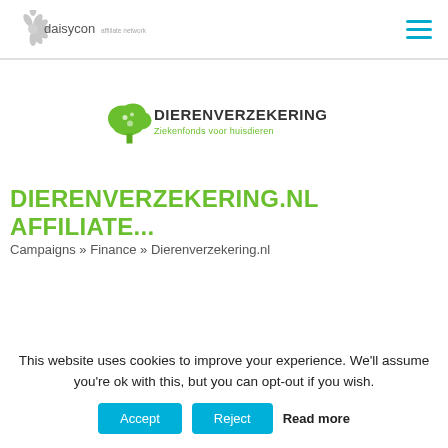daisycon — navigation header with logo and hamburger menu
[Figure (logo): Dierenverzekering.nl logo — green tree/cloud icon with bold dark text DIERENVERZEKERING and green subtitle Ziekenfonds voor huisdieren]
DIERENVERZEKERING.NL AFFILIATE...
Campaigns » Finance » Dierenverzekering.nl
This website uses cookies to improve your experience. We'll assume you're ok with this, but you can opt-out if you wish.
Accept   Reject   Read more